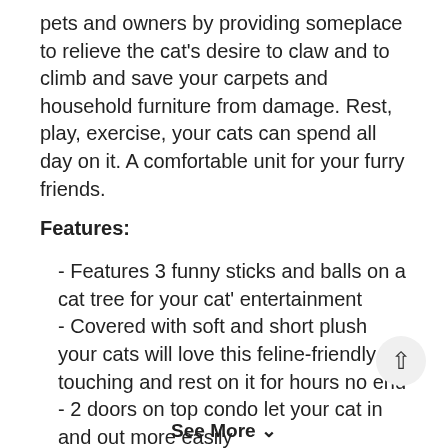pets and owners by providing someplace to relieve the cat's desire to claw and to climb and save your carpets and household furniture from damage. Rest, play, exercise, your cats can spend all day on it. A comfortable unit for your furry friends.
Features:
- Features 3 funny sticks and balls on a cat tree for your cat' entertainment
- Covered with soft and short plush your cats will love this feline-friendly touching and rest on it for hours no end
- 2 doors on top condo let your cat in and out more easily
- Ladder shape cat tree let your cat exercise
See More ∨